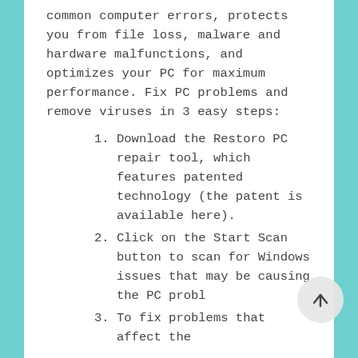common computer errors, protects you from file loss, malware and hardware malfunctions, and optimizes your PC for maximum performance. Fix PC problems and remove viruses in 3 easy steps:
1. Download the Restoro PC repair tool, which features patented technology (the patent is available here).
2. Click on the Start Scan button to scan for Windows issues that may be causing the PC problem.
3. To fix problems that affect the